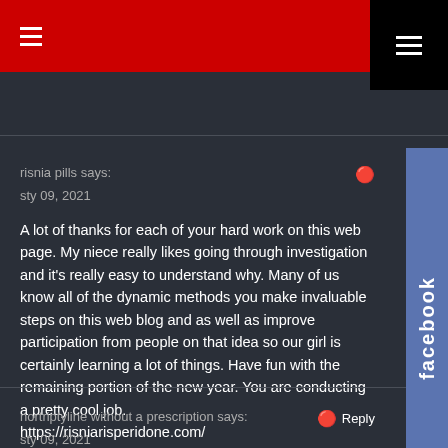Navigation header with hamburger menu
risnia pills says:
sty 09, 2021
A lot of thanks for each of your hard work on this web page. My niece really likes going through investigation and it's really easy to understand why. Many of us know all of the dynamic methods you make invaluable steps on this web blog and as well as improve participation from people on that idea so our girl is certainly learning a lot of things. Have fun with the remaining portion of the new year. You are conducting a pretty cool job.
https://risniarisperidone.com/
nortriptyline without a prescription says:
sty 09, 2021